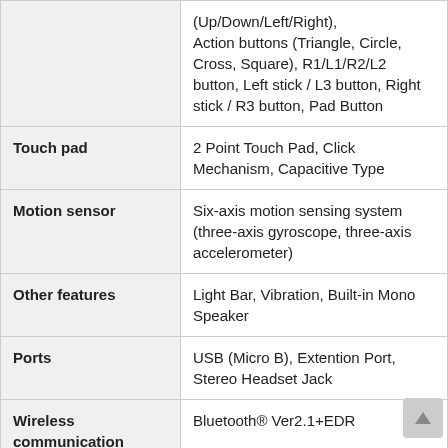| Feature | Sub-feature | Description |
| --- | --- | --- |
|  |  | (Up/Down/Left/Right), Action buttons (Triangle, Circle, Cross, Square), R1/L1/R2/L2 button, Left stick / L3 button, Right stick / R3 button, Pad Button |
| Touch pad |  | 2 Point Touch Pad, Click Mechanism, Capacitive Type |
| Motion sensor |  | Six-axis motion sensing system (three-axis gyroscope, three-axis accelerometer) |
| Other features |  | Light Bar, Vibration, Built-in Mono Speaker |
| Ports |  | USB (Micro B), Extention Port, Stereo Headset Jack |
| Wireless communication |  | Bluetooth® Ver2.1+EDR |
| Battery | Type | Built-in Lithium-ion Rechargeable Battery |